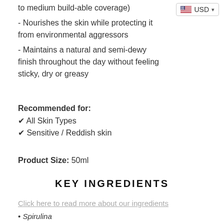[Figure (screenshot): USD currency selector badge with US flag icon and dropdown arrow]
to medium build-able coverage)
- Nourishes the skin while protecting it from environmental aggressors
- Maintains a natural and semi-dewy finish throughout the day without feeling sticky, dry or greasy
Recommended for:
✔ All Skin Types
✔ Sensitive / Reddish skin
Product Size: 50ml
KEY INGREDIENTS
Click here to read more about our ingredients
Spirulina